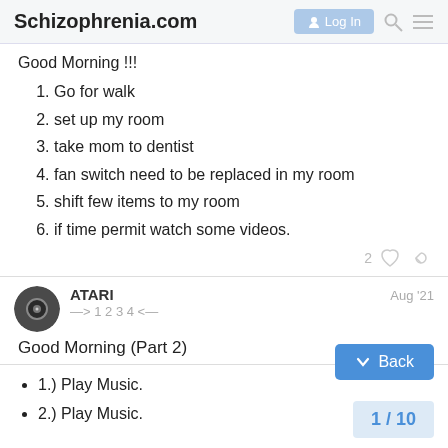Schizophrenia.com  Log In
Good Morning !!!
1. Go for walk
2. set up my room
3. take mom to dentist
4. fan switch need to be replaced in my room
5. shift few items to my room
6. if time permit watch some videos.
ATARI   Aug '21
—>1 2 3 4 <—
Good Morning (Part 2)
1.) Play Music.
2.) Play Music.